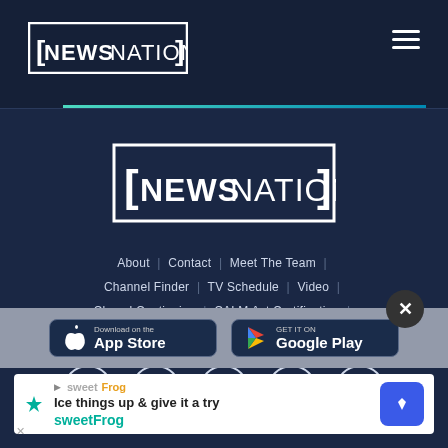NewsNation
[Figure (logo): NewsNation logo large centered in footer area]
About | Contact | Meet The Team | Channel Finder | TV Schedule | Video | Closed Captioning | CALM Act Certification | Newsletters
[Figure (infographic): Social media icons row: Facebook, Twitter, Instagram, YouTube, RSS]
[Figure (infographic): App store download buttons: Download on the App Store, GET IT ON Google Play]
[Figure (infographic): Advertisement banner: sweetFrog - Ice things up & give it a try]